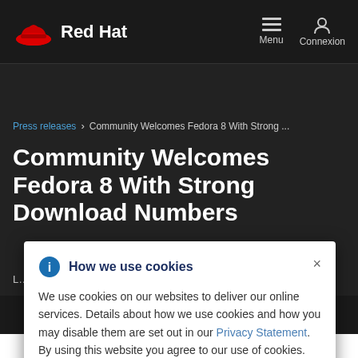Red Hat — Menu | Connexion
Press releases > Community Welcomes Fedora 8 With Strong ...
Community Welcomes Fedora 8 With Strong Download Numbers
L... portability and t...
How we use cookies

We use cookies on our websites to deliver our online services. Details about how we use cookies and how you may disable them are set out in our Privacy Statement. By using this website you agree to our use of cookies.